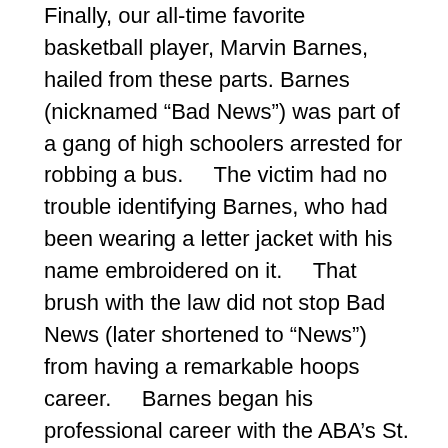Finally, our all-time favorite basketball player, Marvin Barnes, hailed from these parts. Barnes (nicknamed “Bad News”) was part of a gang of high schoolers arrested for robbing a bus.    The victim had no trouble identifying Barnes, who had been wearing a letter jacket with his name embroidered on it.    That brush with the law did not stop Bad News (later shortened to “News”) from having a remarkable hoops career.    Barnes began his professional career with the ABA’s St. Louis Spirits.    Once upon a time, his team was scheduled to fly home from Louisville at 8 o’clock.    Because of the East-to-Central time zone change, the flight was scheduled to arrive in St. Louis at 7:56.    Barnes refused to board the flight.    In